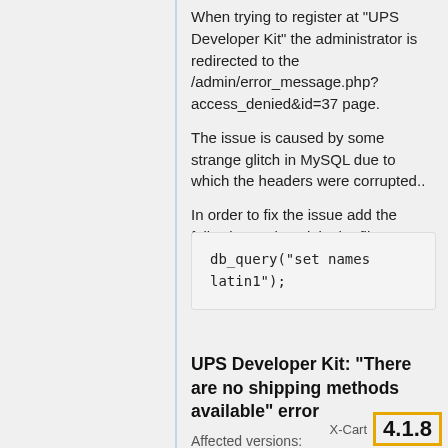When trying to register at "UPS Developer Kit" the administrator is redirected to the /admin/error_message.php?access_denied&id=37 page.
The issue is caused by some strange glitch in MySQL due to which the headers were corrupted..
In order to fix the issue add the following code to init.php file:
db_query("set names latin1");
UPS Developer Kit: "There are no shipping methods available" error
Affected versions: X-Cart 4.1.8